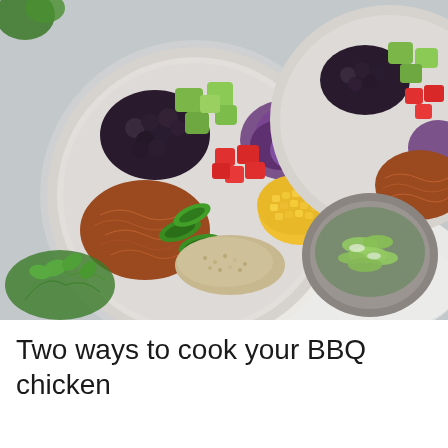[Figure (photo): Overhead photo of two white ceramic bowls filled with BBQ chicken burrito bowls containing black beans, avocado cubes, diced tomatoes, corn, shredded BBQ chicken, jalapeño slices, purple cabbage, and quinoa. A small bowl of chopped green onions sits to the right. Fresh cilantro is visible at the bottom left. The background is a light grey surface with a white linen cloth.]
Two ways to cook your BBQ chicken